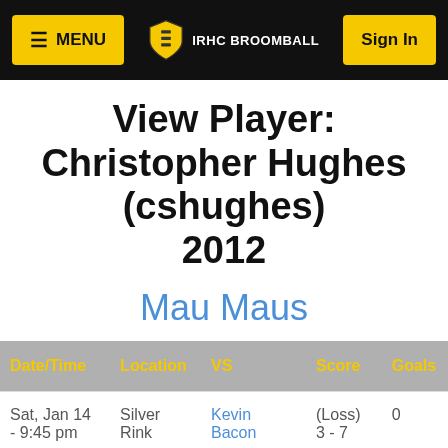≡ MENU   IRHC BROOMBALL   Sign In
View Player: Christopher Hughes (cshughes) 2012
Mau Maus
| Date/Time | Location | VS | Score | Goals |
| --- | --- | --- | --- | --- |
| Sat, Jan 14 - 9:45 pm | Silver Rink | Kevin Bacon | (Loss) 3 - 7 | 0 |